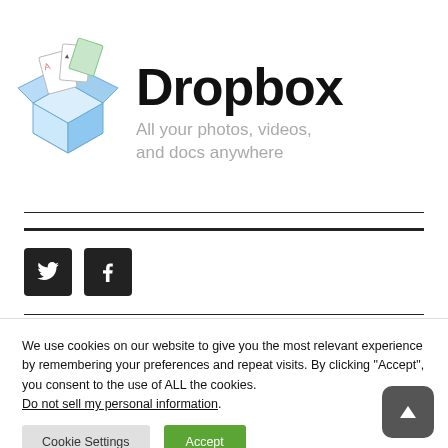[Figure (logo): Dropbox logo: open cardboard box with papers/photos inside, drawn in watercolor style, blue tones]
Dropbox
All your photos, videos, and docs anywhere
[Figure (infographic): Twitter and Facebook social media icon buttons (dark square buttons with white bird and F icons)]
We use cookies on our website to give you the most relevant experience by remembering your preferences and repeat visits. By clicking “Accept”, you consent to the use of ALL the cookies.
Do not sell my personal information.